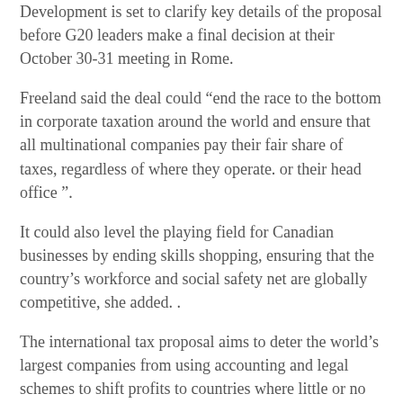Development is set to clarify key details of the proposal before G20 leaders make a final decision at their October 30-31 meeting in Rome.
Freeland said the deal could “end the race to the bottom in corporate taxation around the world and ensure that all multinational companies pay their fair share of taxes, regardless of where they operate. or their head office ”.
It could also level the playing field for Canadian businesses by ending skills shopping, ensuring that the country’s workforce and social safety net are globally competitive, she added. .
The international tax proposal aims to deter the world’s largest companies from using accounting and legal schemes to shift profits to countries where little or no tax is due – and where the business can do little or no real business.
Under the proposed minimum rate, companies that evade taxes abroad would pay them at home, thus removing incentives to use or create tax havens.
A second part of the plan would allow countries to tax a portion of the profits of companies that make profits without a physical